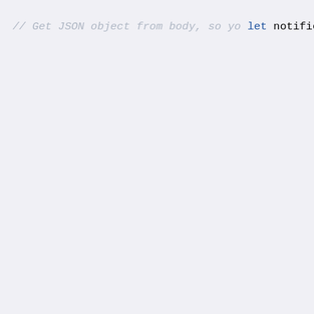[Figure (screenshot): Code snippet in JavaScript showing webhook handler logic with if/else if blocks for MESSAGE_TYPE_NOTIFICATION, MESSAGE_TYPE_VERIFICATION, MESSAGE_TYPE_REVOCATION, and else branch, with console.log and res.sendStatus calls.]